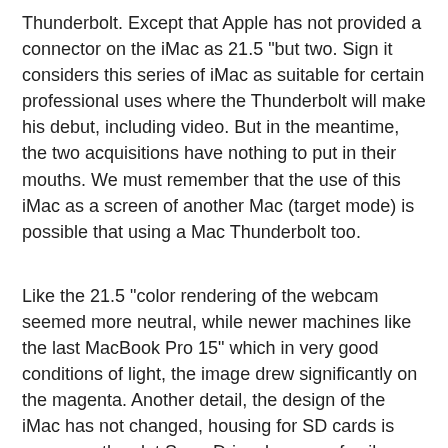Thunderbolt. Except that Apple has not provided a connector on the iMac as 21.5 "but two. Sign it considers this series of iMac as suitable for certain professional uses where the Thunderbolt will make his debut, including video. But in the meantime, the two acquisitions have nothing to put in their mouths. We must remember that the use of this iMac as a screen of another Mac (target mode) is possible that using a Mac Thunderbolt too.
Like the 21.5 "color rendering of the webcam seemed more neutral, while newer machines like the last MacBook Pro 15" which in very good conditions of light, the image drew significantly on the magenta. Another detail, the design of the iMac has not changed, housing for SD cards is very near the slot SuperDrive, beware of evil manipulations' ...
At the time of ordering, the customer some options. Like go to 8 GB memory (16 GB max). If one spends most of his time on the Internet, the 4 GB may be enough. It is recommended that in contrast to climb to higher level when working with many applications open. We can happily adjust